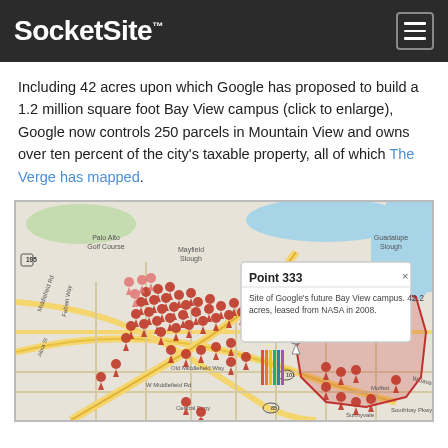SocketSite™
Including 42 acres upon which Google has proposed to build a 1.2 million square foot Bay View campus (click to enlarge), Google now controls 250 parcels in Mountain View and owns over ten percent of the city's taxable property, all of which The Verge has mapped.
[Figure (map): Map of Mountain View showing Google's 250 parcels marked with red map pins, with a popup callout for Point 333: 'Site of Google's future Bay View campus. 42.2 acres, leased from NASA in 2008.' A large red outlined/shaded polygon on the right side shows the Bay View campus land area near Moffett Field/NASA, with Guadalupe Slough and San Francisco Bay visible. Streets labeled include Middlefield Rd, Old Middlefield Way, W Middlefield Rd, Fabian Way, Central Expy, California, Bayshore Pkwy, W Java Dr, Sunnyvale.]